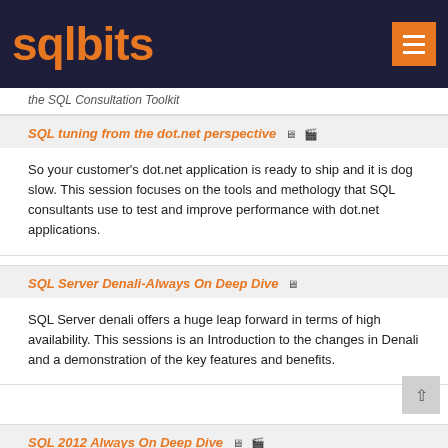sqlbits
the SQL Consultation Toolkit
SQL tuning from the dot.net perspective
So your customer's dot.net application is ready to ship and it is dog slow. This session focuses on the tools and methology that SQL consultants use to test and improve performance with dot.net applications.
SQL Server Denali-Always On Deep Dive
SQL Server denali offers a huge leap forward in terms of high availability. This sessions is an Introduction to the changes in Denali and a demonstration of the key features and benefits.
SQL 2012 Always On Deep Dive